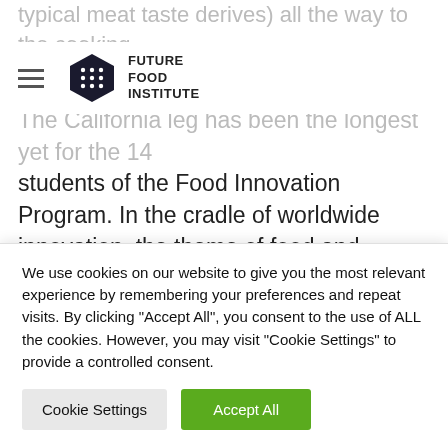typical meat taste derives) all the way to the cooking, plating of the b...
FUTURE FOOD INSTITUTE
The California leg has been the longest yet for the 14 students of the Food Innovation Program. In the cradle of worldwide innovation, the theme of food and market reference are always at the forefront and the territory was the perfect place to find food system icons, rituals and heroes. For example IDEO, one of the most famous studios in the world working to create impact through design. How? By getting large corporations to think like
We use cookies on our website to give you the most relevant experience by remembering your preferences and repeat visits. By clicking "Accept All", you consent to the use of ALL the cookies. However, you may visit "Cookie Settings" to provide a controlled consent.